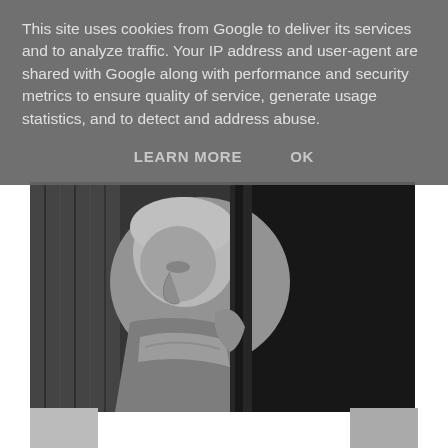This site uses cookies from Google to deliver its services and to analyze traffic. Your IP address and user-agent are shared with Google along with performance and security metrics to ensure quality of service, generate usage statistics, and to detect and address abuse.
LEARN MORE   OK
[Figure (photo): Black and white photograph of a woman with light hair looking downward, holding something, with dramatic shadows and vertical lines in the background.]